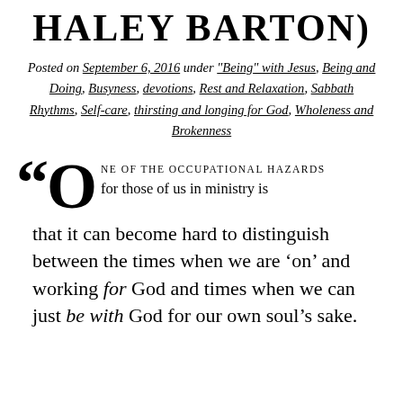HALEY BARTON)
Posted on September 6, 2016 under "Being" with Jesus, Being and Doing, Busyness, devotions, Rest and Relaxation, Sabbath Rhythms, Self-care, thirsting and longing for God, Wholeness and Brokenness
“One of the occupational hazards for those of us in ministry is that it can become hard to distinguish between the times when we are ‘on’ and working for God and times when we can just be with God for our own soul’s sake.